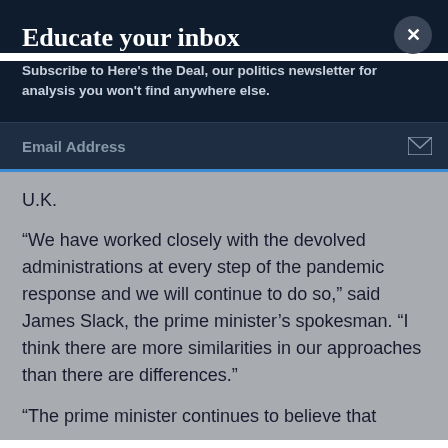Educate your inbox
Subscribe to Here's the Deal, our politics newsletter for analysis you won't find anywhere else.
Email Address
U.K.
“We have worked closely with the devolved administrations at every step of the pandemic response and we will continue to do so,” said James Slack, the prime minister’s spokesman. “I think there are more similarities in our approaches than there are differences.”
“The prime minister continues to believe that